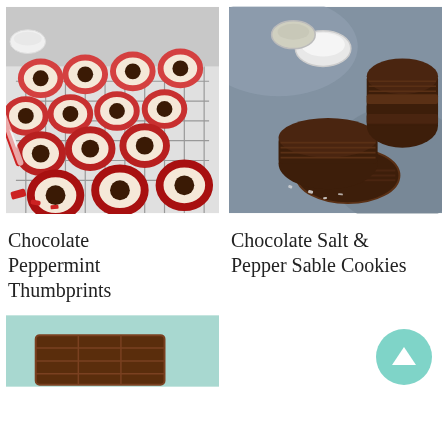[Figure (photo): Chocolate peppermint thumbprint cookies with red and white swirl dough on a cooling rack, surrounded by candy canes and crushed peppermint.]
[Figure (photo): Chocolate salt and pepper sable cookies stacked on a dark surface with small bowls of salt and pepper nearby.]
Chocolate Peppermint Thumbprints
Chocolate Salt & Pepper Sable Cookies
[Figure (photo): Partial view of what appears to be a chocolate bar or chocolate dessert on a light colored surface.]